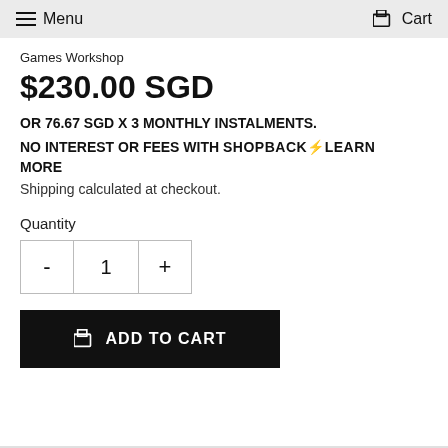Menu  Cart
Games Workshop
$230.00 SGD
OR 76.67 SGD X 3 MONTHLY INSTALMENTS.
NO INTEREST OR FEES WITH SHOPBACK⚡LEARN MORE
Shipping calculated at checkout.
Quantity
- 1 +
ADD TO CART